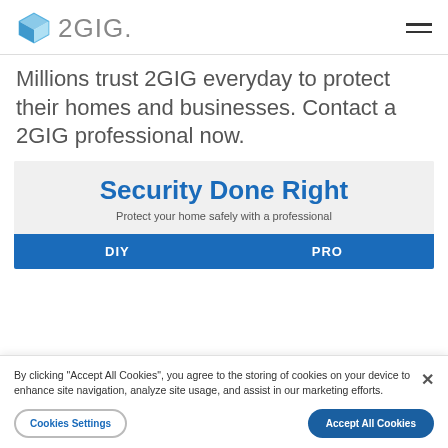2GIG
Millions trust 2GIG everyday to protect their homes and businesses. Contact a 2GIG professional now.
Security Done Right
Protect your home safely with a professional
| DIY | PRO |
| --- | --- |
By clicking "Accept All Cookies", you agree to the storing of cookies on your device to enhance site navigation, analyze site usage, and assist in our marketing efforts.
Cookies Settings
Accept All Cookies